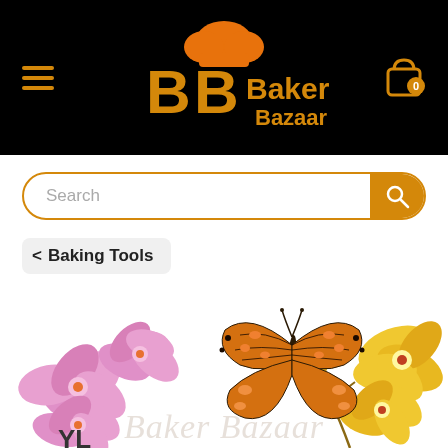[Figure (logo): Baker Bazaar logo with chef hat and stylized BB letters in orange/gold on black background, with hamburger menu icon left and shopping cart icon right]
Search
< Baking Tools
[Figure (photo): Pink phalaenopsis orchid flowers on white background (left product image)]
[Figure (photo): Orange butterfly perched on yellow orchid flowers on white background (right product image)]
Baker Bazaar (watermark)